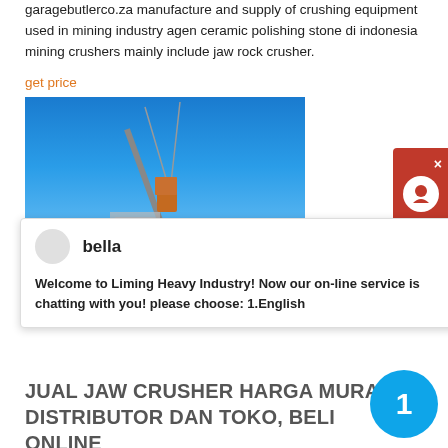garagebutlerco.za manufacture and supply of crushing equipment used in mining industry agen ceramic polishing stone di indonesia mining crushers mainly include jaw rock crusher.
get price
[Figure (photo): Photograph of a crane or heavy machinery against a blue sky background]
[Figure (screenshot): Live chat widget popup with avatar named 'bella' showing message: Welcome to Liming Heavy Industry! Now our on-line service is chatting with you! please choose: 1.English]
JUAL JAW CRUSHER HARGA MURAH DISTRIBUTOR DAN TOKO, BELI ONLINE
Jaw Crusher merupakan suatu mesin atau alat yang banyak digunakan pada industri pertambangan yang penempatannya umumnya diluar ruangan. Merupakan salah satu peralatan penggunaan pada saat penghancuran tahap pertama dan tahap